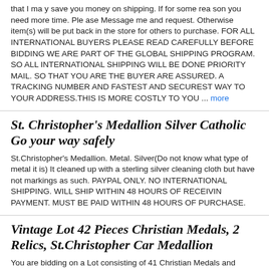that I may save you money on shipping. If for some reason you need more time. Please Message me and request. Otherwise item(s) will be put back in the store for others to purchase. FOR ALL INTERNATIONAL BUYERS PLEASE READ CAREFULLY BEFORE BIDDING WE ARE PART OF THE GLOBAL SHIPPING PROGRAM. SO ALL INTERNATIONAL SHIPPING WILL BE DONE PRIORITY MAIL. SO THAT YOU ARE THE BUYER ARE ASSURED. A TRACKING NUMBER AND FASTEST AND SECUREST WAY TO YOUR ADDRESS.THIS IS MORE COSTLY TO YOU ... more
St. Christopher's Medallion Silver Catholic Go your way safely
St.Christopher's Medallion. Metal. Silver(Do not know what type of metal it is) It cleaned up with a sterling silver cleaning cloth but have not markings as such. PAYPAL ONLY. NO INTERNATIONAL SHIPPING. WILL SHIP WITHIN 48 HOURS OF RECEIVIN PAYMENT. MUST BE PAID WITHIN 48 HOURS OF PURCHASE.
Vintage Lot 42 Pieces Christian Medals, 2 Relics, St.Christopher Car Medallion
You are bidding on a Lot consisting of 41 Christian Medals and Medallions. And 1 St. Christopher metal car medallion/plate with notch for gear shift. Some of these Medals are stamped Germany. Italy, France. Several Saint Anthony Medals. Saint Christopher, Saint Frances, and more. 1 Relic Medal stamped Lourdes France. 1 Relic Medal marked Saint Dymphna White Cross on black or dark blue background in triangular shape set in lucite. These medals are very old